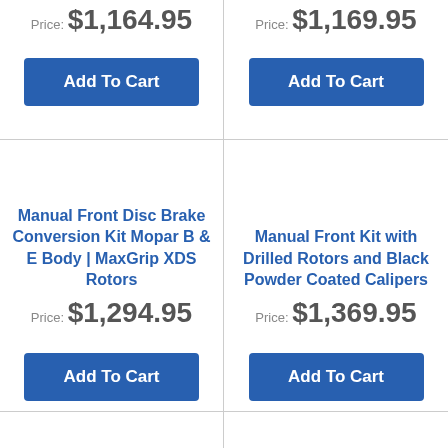Price: $1,164.95
Price: $1,169.95
Add To Cart
Add To Cart
Manual Front Disc Brake Conversion Kit Mopar B & E Body | MaxGrip XDS Rotors
Price: $1,294.95
Manual Front Kit with Drilled Rotors and Black Powder Coated Calipers
Price: $1,369.95
Add To Cart
Add To Cart